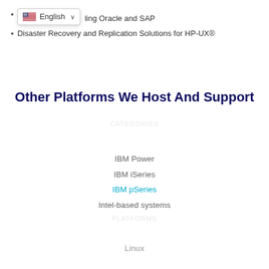... including Oracle and SAP
Disaster Recovery and Replication Solutions for HP-UX®
Other Platforms We Host And Support
IBM Power
IBM iSeries
IBM pSeries
Intel-based systems
Linux